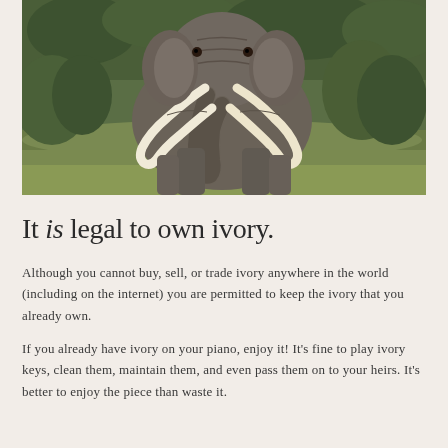[Figure (photo): Close-up photograph of a large African elephant with prominent white ivory tusks, standing in a grassy savanna landscape with green shrubs in the background.]
It is legal to own ivory.
Although you cannot buy, sell, or trade ivory anywhere in the world (including on the internet) you are permitted to keep the ivory that you already own.
If you already have ivory on your piano, enjoy it! It's fine to play ivory keys, clean them, maintain them, and even pass them on to your heirs. It's better to enjoy the piece than waste it.